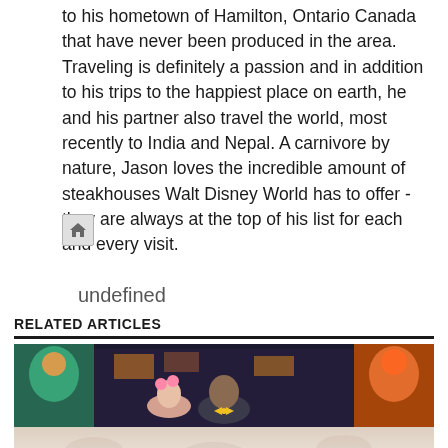to his hometown of Hamilton, Ontario Canada that have never been produced in the area. Traveling is definitely a passion and in addition to his trips to the happiest place on earth, he and his partner also travel the world, most recently to India and Nepal. A carnivore by nature, Jason loves the incredible amount of steakhouses Walt Disney World has to offer - they are always at the top of his list for each and every visit.
[Figure (other): Home icon button - small grey square button with a house icon]
undefined
RELATED ARTICLES
[Figure (photo): Photo of people at Walt Disney World, appears to show a man with a beard wearing a yellow bow tie and a woman with pink Mickey ears, surrounded by colorful Disney characters/decorations. The bottom portion of the image is washed out/faded.]